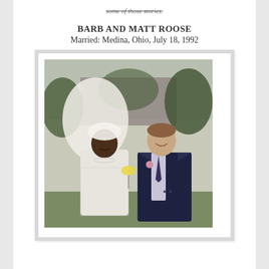some of those stories.
BARB AND MATT ROOSE
Married: Medina, Ohio, July 18, 1992
[Figure (photo): Wedding photo of Barb and Matt Roose. Barb is on the left wearing a white lace wedding dress and veil with pearl necklace, smiling. Matt is on the right wearing a dark navy suit with a pink boutonniere and tie. They are standing outdoors in front of greenery and a building.]